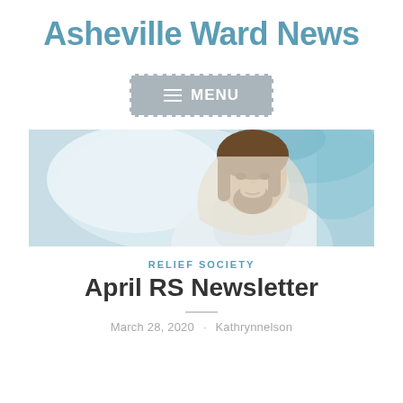Asheville Ward News
[Figure (screenshot): Gray button with dashed white border containing hamburger menu icon and 'MENU' text in white on gray background]
[Figure (photo): Banner photo of Jesus Christ in white robe with blue-teal painted background, portrait orientation cropped horizontally]
RELIEF SOCIETY
April RS Newsletter
March 28, 2020 · Kathrynnelson